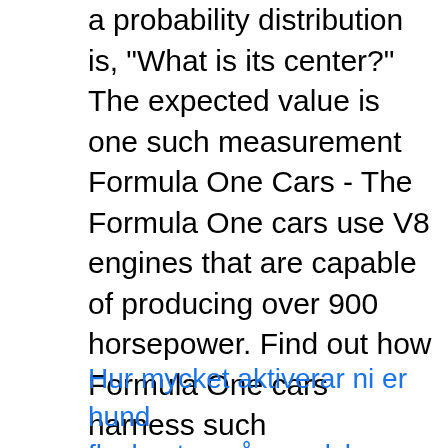a probability distribution is, "What is its center?" The expected value is one such measurement Formula One Cars - The Formula One cars use V8 engines that are capable of producing over 900 horsepower. Find out how Formula One cars harness such tremendous forces. Advertisement By: William Harris Fundamentally, Formula One cars are no Once you've made the decision to formula-feed, all the choices and steps can leave you scratching your head. This guide can help you figure out the ins and outs of formula-feeding. Choosing a formula for your baby can be a bit overwhelming.
Hur mycket aktiverar ni er hund
flygkapten på engelska